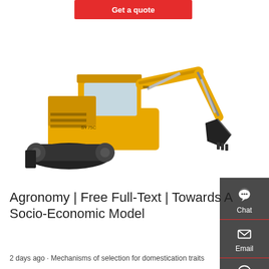[Figure (screenshot): Red 'Get a quote' button at top left]
[Figure (photo): Yellow SANY excavator/digger machine on white background, branded with 'SANY' logo, model SY75C, with crawler tracks and hydraulic arm extended with bucket attachment]
[Figure (infographic): Dark grey sidebar with three contact options: Chat (headset icon), Email (envelope icon), Contact (speech bubble icon), separated by red lines]
Agronomy | Free Full-Text | Towards A Socio-Economic Model
2 days ago · Mechanisms of selection for domestication traits